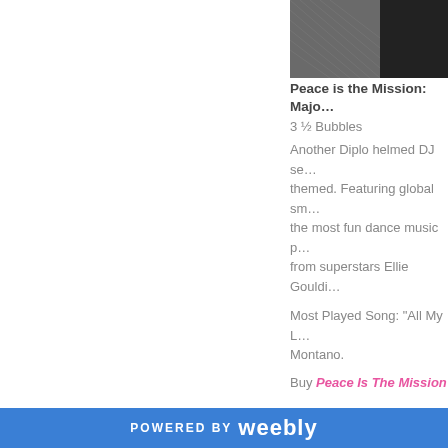[Figure (photo): Album cover photo showing dark textured/mesh pattern on left and a dark figure on right]
Peace is the Mission: Majo…
3 ½ Bubbles
Another Diplo helmed DJ se… themed. Featuring global sm… the most fun dance music p… from superstars Ellie Gouldi…
Most Played Song: “All My L… Montano.
Buy Peace Is The Mission
Pitch Perfect 2: Soundtrac…
3 Bubbles
The album fares just as well… more you'll appreciate the a… sequel proves to be not as g… performance it also features…
POWERED BY weebly